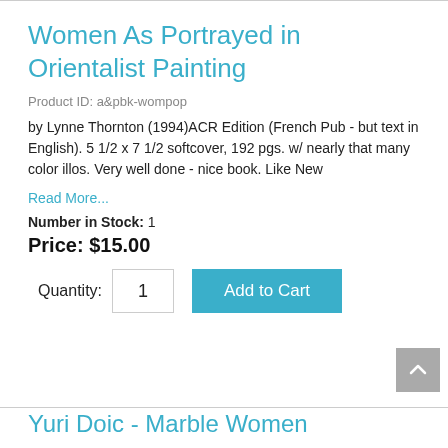Women As Portrayed in Orientalist Painting
Product ID: a&pbk-wompop
by Lynne Thornton (1994)ACR Edition (French Pub - but text in English). 5 1/2 x 7 1/2 softcover, 192 pgs. w/ nearly that many color illos. Very well done - nice book. Like New
Read More...
Number in Stock: 1
Price: $15.00
Quantity: 1  Add to Cart
Yuri Doic - Marble Women